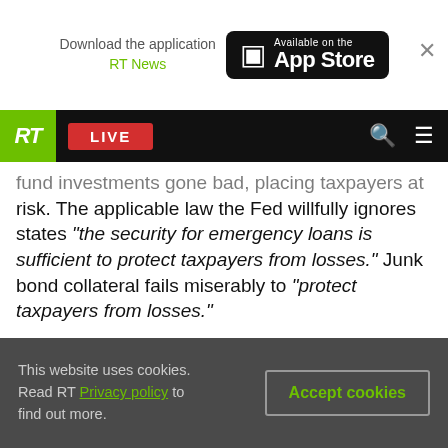[Figure (screenshot): App Store download banner with RT News branding and Available on the App Store button]
[Figure (screenshot): RT News website navigation bar with green RT logo, red LIVE button, search and menu icons]
fund investments gone bad, placing taxpayers at risk. The applicable law the Fed willfully ignores states "the security for emergency loans is sufficient to protect taxpayers from losses." Junk bond collateral fails miserably to "protect taxpayers from losses."

Not only are we bailing out the rich, but we also won't even know the details. Buried deep within the nearly 1,000-page CARES legislation is a clause allowing the Fed to shield its bailout activities from all public scrutiny. When, not if, it goes wrong, the
[Figure (screenshot): Cookie consent bar: 'This website uses cookies. Read RT Privacy policy to find out more.' with Accept cookies button]